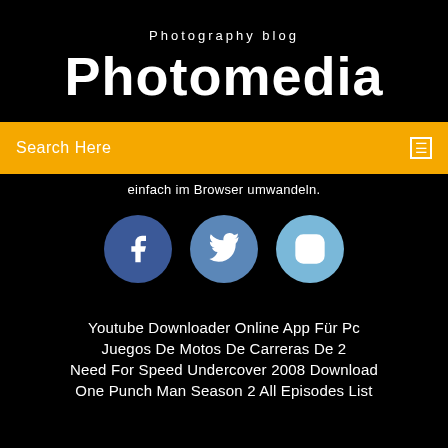Photography blog
Photomedia
Search Here
einfach im Browser umwandeln.
[Figure (infographic): Three social media icons as colored circles: Facebook (dark blue), Twitter (medium blue), Instagram (light blue)]
Youtube Downloader Online App Für Pc
Juegos De Motos De Carreras De 2
Need For Speed Undercover 2008 Download
One Punch Man Season 2 All Episodes List